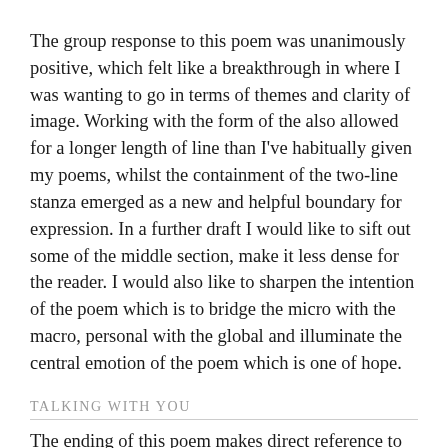The group response to this poem was unanimously positive, which felt like a breakthrough in where I was wanting to go in terms of themes and clarity of image. Working with the form of the also allowed for a longer length of line than I've habitually given my poems, whilst the containment of the two-line stanza emerged as a new and helpful boundary for expression. In a further draft I would like to sift out some of the middle section, make it less dense for the reader. I would also like to sharpen the intention of the poem which is to bridge the micro with the macro, personal with the global and illuminate the central emotion of the poem which is one of hope.
TALKING WITH YOU
The ending of this poem makes direct reference to Sylvia Plath's poem Tulips, and the context is a